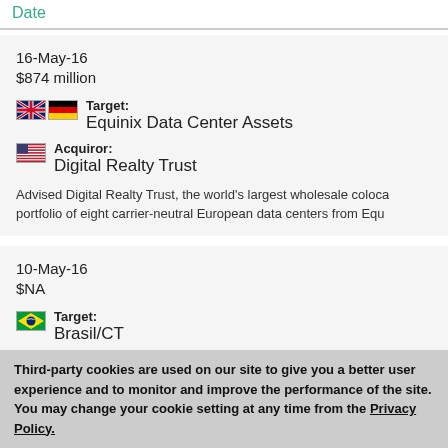Date
16-May-16
$874 million
Target: Equinix Data Center Assets
Acquiror: Digital Realty Trust
Advised Digital Realty Trust, the world's largest wholesale coloca... portfolio of eight carrier-neutral European data centers from Equ...
10-May-16
$NA
Target: Brasil/CT
Third-party cookies are used on our site to give you a better user experience and to monitor and improve the performance of the site.  You may change your cookie setting at any time from the Privacy Policy.